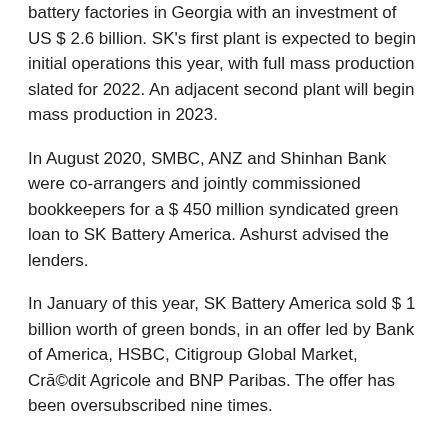battery factories in Georgia with an investment of US $ 2.6 billion. SK's first plant is expected to begin initial operations this year, with full mass production slated for 2022. An adjacent second plant will begin mass production in 2023.
In August 2020, SMBC, ANZ and Shinhan Bank were co-arrangers and jointly commissioned bookkeepers for a $ 450 million syndicated green loan to SK Battery America. Ashurst advised the lenders.
In January of this year, SK Battery America sold $ 1 billion worth of green bonds, in an offer led by Bank of America, HSBC, Citigroup Global Market, Crédit Agricole and BNP Paribas. The offer has been oversubscribed nine times.
Related Posts:
1. Director at India Globalization Capital (NYSE MKT: IGC) sells shares